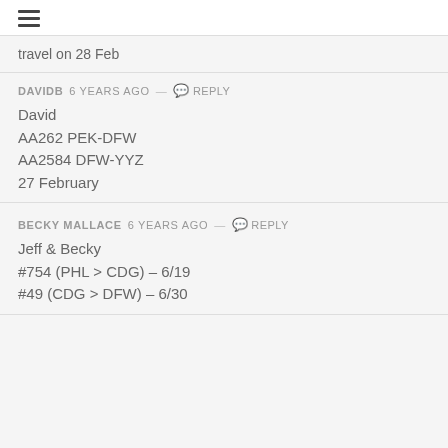≡
travel on 28 Feb
DAVIDB 6 years ago — Reply
David
AA262 PEK-DFW
AA2584 DFW-YYZ
27 February
BECKY MALLACE 6 years ago — Reply
Jeff & Becky
#754 (PHL > CDG) – 6/19
#49 (CDG > DFW) – 6/30